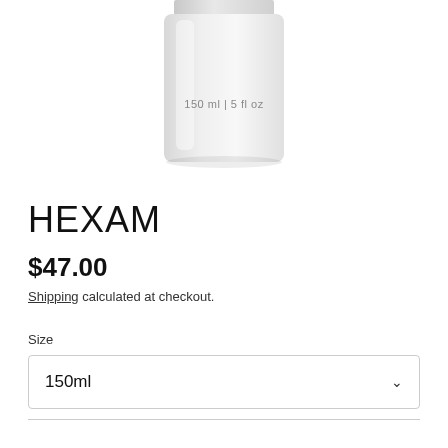[Figure (photo): White cylindrical bottle with label reading '150 ml | 5 fl oz', partially cropped at the top of the page]
HEXAM
$47.00
Shipping calculated at checkout.
Size
150ml